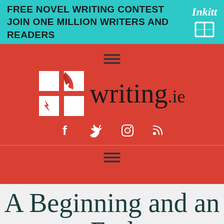[Figure (screenshot): Inkitt advertisement banner: teal background with bold text FREE NOVEL WRITING CONTEST / JOIN ONE MILLION WRITERS AND READERS and Inkitt logo with book icon on right]
[Figure (logo): writing.ie website header on red background with feather quill logo squares, site name 'writing.ie', hamburger menu icons, and social media icons (Facebook, Twitter, Instagram, RSS)]
A Beginning and an End